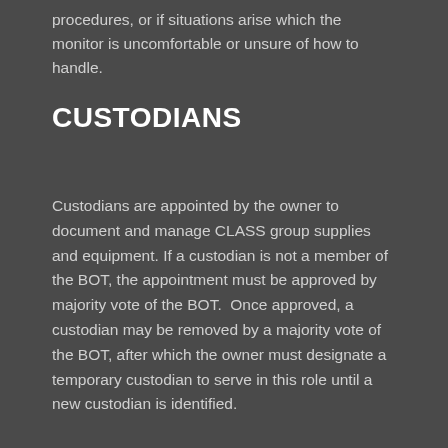procedures, or if situations arise which the monitor is uncomfortable or unsure of how to handle.
CUSTODIANS
Custodians are appointed by the owner to document and manage CLASS group supplies and equipment. If a custodian is not a member of the BOT, the appointment must be approved by majority vote of the BOT.  Once approved, a custodian may be removed by a majority vote of the BOT, after which the owner must designate a temporary custodian to serve in this role until a new custodian is identified.